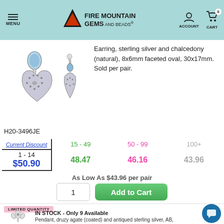MENU | FIRE MOUNTAIN GEMS and Beads | ACCOUNT | CART 0
[Figure (photo): Two sterling silver and chalcedony earrings - heart shaped with blue stone and marcasite details, shown front and side view]
Earring, sterling silver and chalcedony (natural), 8x6mm faceted oval, 30x17mm. Sold per pair.
H20-3496JE
| Current Discount | 15 - 49 | 50 - 99 | 100+ |
| --- | --- | --- | --- |
| 1 - 14 | 15 - 49 | 50 - 99 | 100+ |
| $50.90 | 48.47 | 46.16 | 43.96 |
As Low As $43.96 per pair
LIMITED QUANTITY
IN STOCK - Only 9 Available
[Figure (photo): Flower pendant charm in antiqued sterling silver on a chain]
Pendant, druzy agate (coated) and antiqued sterling silver, AB, 51x26mm teardrop with 23x26mm teardrop with